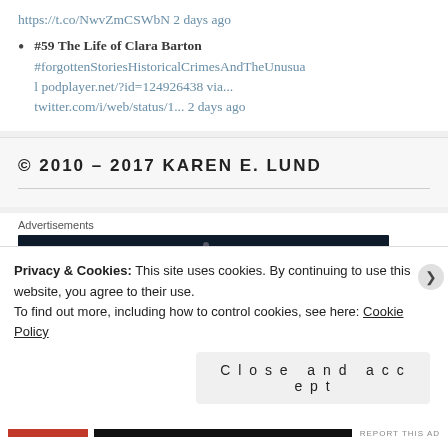https://t.co/NwvZmCSWbN 2 days ago
#59 The Life of Clara Barton #forgottenStoriesHistoricalCrimesAndTheUnusual podplayer.net/?id=124926438 via... twitter.com/i/web/status/1... 2 days ago
© 2010 – 2017 KAREN E. LUND
Advertisements
Privacy & Cookies: This site uses cookies. By continuing to use this website, you agree to their use.
To find out more, including how to control cookies, see here: Cookie Policy
Close and accept